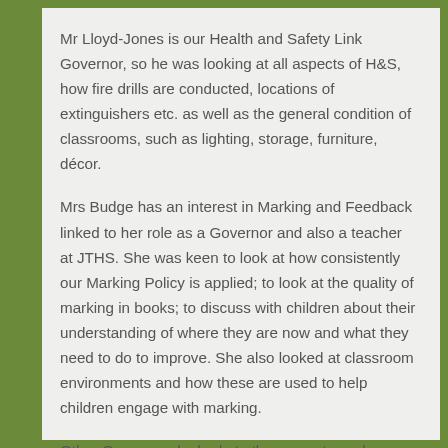Mr Lloyd-Jones is our Health and Safety Link Governor, so he was looking at all aspects of H&S, how fire drills are conducted, locations of extinguishers etc. as well as the general condition of classrooms, such as lighting, storage, furniture, décor.
Mrs Budge has an interest in Marking and Feedback linked to her role as a Governor and also a teacher at JTHS. She was keen to look at how consistently our Marking Policy is applied; to look at the quality of marking in books; to discuss with children about their understanding of where they are now and what they need to do to improve. She also looked at classroom environments and how these are used to help children engage with marking.
Other Governors looked at other aspects such as: